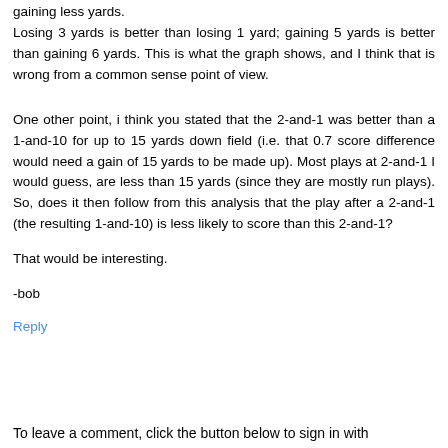gaining less yards.
Losing 3 yards is better than losing 1 yard; gaining 5 yards is better than gaining 6 yards. This is what the graph shows, and I think that is wrong from a common sense point of view.
One other point, i think you stated that the 2-and-1 was better than a 1-and-10 for up to 15 yards down field (i.e. that 0.7 score difference would need a gain of 15 yards to be made up). Most plays at 2-and-1 I would guess, are less than 15 yards (since they are mostly run plays). So, does it then follow from this analysis that the play after a 2-and-1 (the resulting 1-and-10) is less likely to score than this 2-and-1?
That would be interesting.
-bob
Reply
To leave a comment, click the button below to sign in with